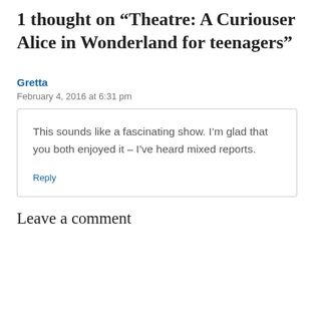1 thought on “Theatre: A Curiouser Alice in Wonderland for teenagers”
Gretta
February 4, 2016 at 6:31 pm
This sounds like a fascinating show. I’m glad that you both enjoyed it – I’ve heard mixed reports.
Reply
Leave a comment